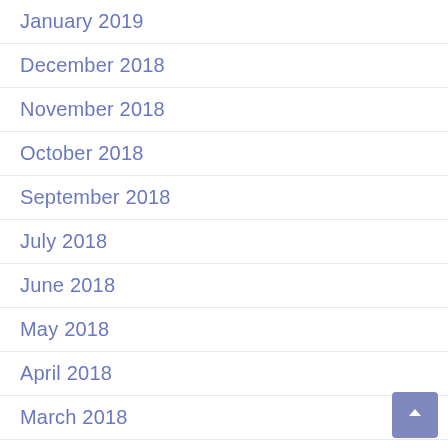January 2019
December 2018
November 2018
October 2018
September 2018
July 2018
June 2018
May 2018
April 2018
March 2018
February 2018
January 2018
December 2017